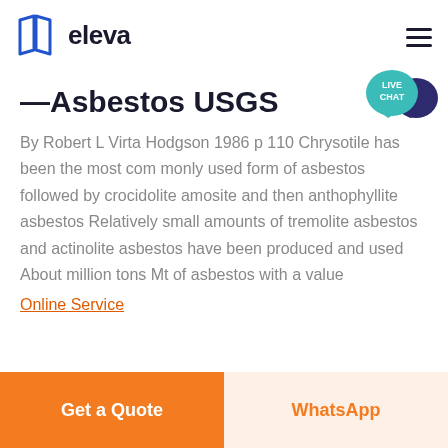eleva
—Asbestos USGS
By Robert L Virta Hodgson 1986 p 110 Chrysotile has been the most com monly used form of asbestos followed by crocidolite amosite and then anthophyllite asbestos Relatively small amounts of tremolite asbestos and actinolite asbestos have been produced and used About million tons Mt of asbestos with a value
Online Service
Get a Quote | WhatsApp